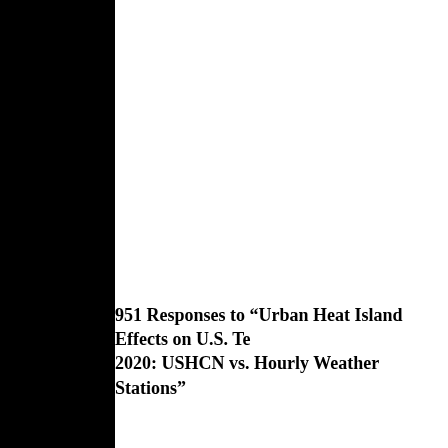951 Responses to “Urban Heat Island Effects on U.S. Temperatures 2020: USHCN vs. Hourly Weather Stations”